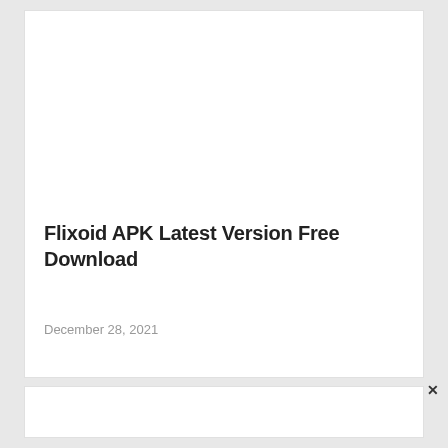Flixoid APK Latest Version Free Download
December 28, 2021